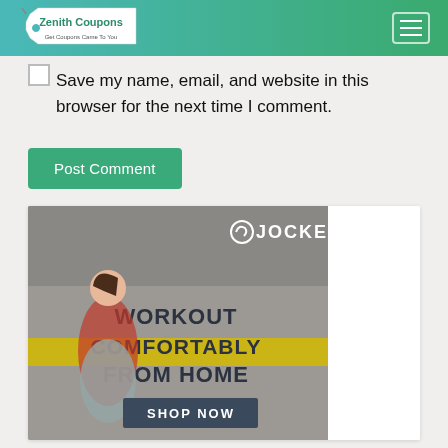Zenith Coupons — Get Coupons Came To You
Save my name, email, and website in this browser for the next time I comment.
Post Comment
[Figure (illustration): Jockey advertisement banner showing a woman working out in athletic wear with text 'WORKOUT COMFORTABLY FROM HOME' and 'SHOP NOW' button]